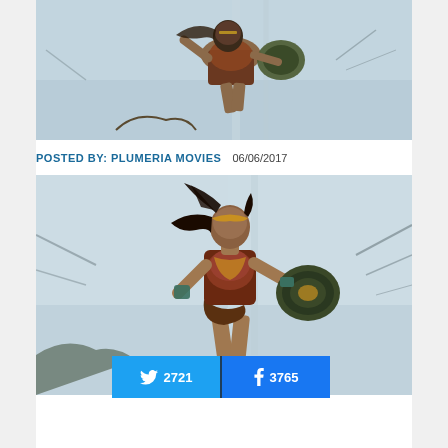[Figure (photo): Wonder Woman character in action pose with shield, wearing armored costume, misty/foggy battlefield background with bare trees]
POSTED BY: PLUMERIA MOVIES   06/06/2017
[Figure (photo): Wonder Woman character in action pose with shield, wearing armored costume with gold tiara, misty/foggy battlefield background with bare trees — larger/closer view]
2721  3765